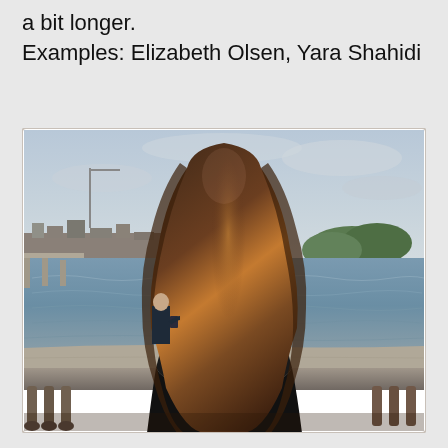a bit longer.
Examples: Elizabeth Olsen, Yara Shahidi
[Figure (photo): A woman with long, flowing brown hair with highlights sits on a stone railing overlooking a large body of water. She is viewed from behind. In the background, a man stands looking at his phone, with trees, buildings, and a dock visible across the water under an overcast sky.]